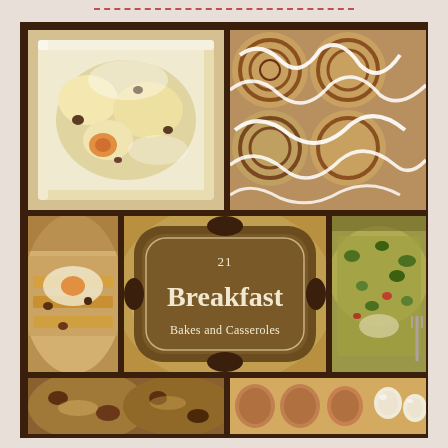[Figure (photo): Collage of breakfast bakes and casseroles: top-left shows a cheesy egg casserole in a white baking dish, top-right shows cinnamon rolls with white icing drizzle, center middle has a decorative brown oval label reading '21 Breakfast Bakes and Casseroles' with food photos on either side, bottom row shows two more breakfast casserole photos.]